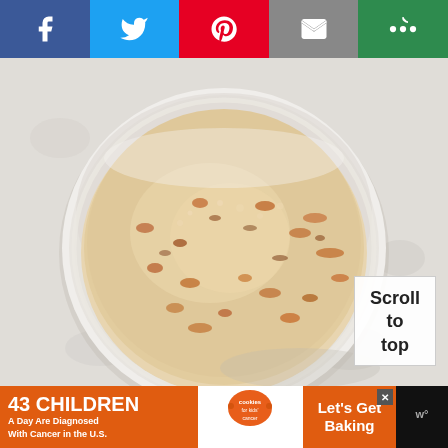[Figure (other): Social media share bar with Facebook (blue), Twitter (light blue), Pinterest (red), Email (gray), and More (green) buttons with white icons]
[Figure (photo): Top-down view of a white bowl filled with creamy beige porridge or grain soup with orange and brown chunky bits, on a light gray-white surface]
Scroll to top
43 CHILDREN A Day Are Diagnosed With Cancer in the U.S.
[Figure (logo): Cookies for Kids Cancer logo - orange cookies text with circular graphic]
Let's Get Baking